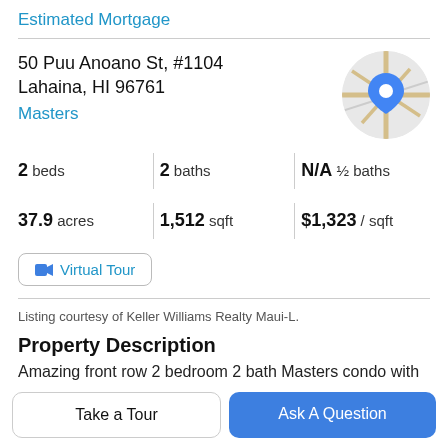Estimated Mortgage
50 Puu Anoano St, #1104
Lahaina, HI 96761
Masters
[Figure (map): Circular map thumbnail showing a street map with a blue location pin marker]
2 beds   2 baths   N/A ½ baths
37.9 acres   1,512 sqft   $1,323 / sqft
Virtual Tour
Listing courtesy of Keller Williams Realty Maui-L.
Property Description
Amazing front row 2 bedroom 2 bath Masters condo with
Take a Tour
Ask A Question